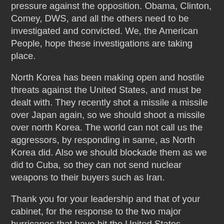pressure against the opposition. Obama, Clinton, Comey, DWS, and all the others need to be investigated and convicted. We, the American People, hope these investigations are taking place.
North Korea has been making open and hostile threats against the United States, and must be dealt with. They recently shot a missile a missile over Japan again, so we should shoot a missile over north Korea. The world can not call us the aggressors, by responding in same, as North Korea did. Also we should blockade them as we did to Cuba, so they can not send nuclear weapons to their buyers such as Iran.
Thank you for your leadership and that of your cabinet, for the response to the two major hurricanes that have hit the United States recently. Many American lives were saved, and you have helped greatly in easing the suffering. God Bless You and your cabinet. The Main Stream Media hates to admits it, but they know you did wonderfully. Thank You.
Thank you for bringing religion and moral guidance back into Americans lives. Faith and Prayers are good for the